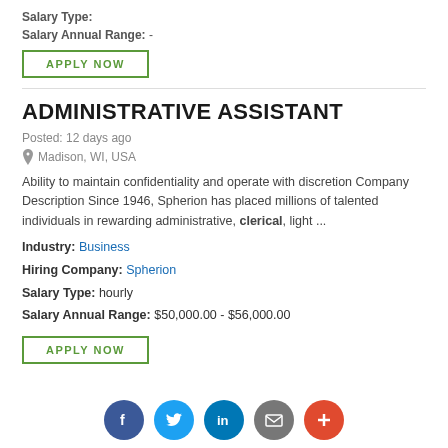Salary Type:
Salary Annual Range: -
APPLY NOW
ADMINISTRATIVE ASSISTANT
Posted: 12 days ago
Madison, WI, USA
Ability to maintain confidentiality and operate with discretion Company Description Since 1946, Spherion has placed millions of talented individuals in rewarding administrative, clerical, light ...
Industry: Business
Hiring Company: Spherion
Salary Type: hourly
Salary Annual Range: $50,000.00 - $56,000.00
APPLY NOW
[Figure (infographic): Social sharing icons: Facebook (blue circle), Twitter (light blue circle), LinkedIn (dark blue circle), Email (grey circle), Plus/More (red-orange circle)]